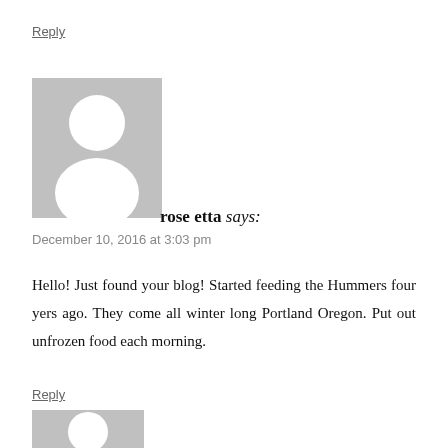Reply
[Figure (illustration): Default avatar placeholder image: grey square with white silhouette of a person (head circle and shoulders)]
rose etta says:
December 10, 2016 at 3:03 pm
Hello! Just found your blog! Started feeding the Hummers four yers ago. They come all winter long Portland Oregon. Put out unfrozen food each morning.
Reply
[Figure (illustration): Partial default avatar placeholder image at bottom of page]